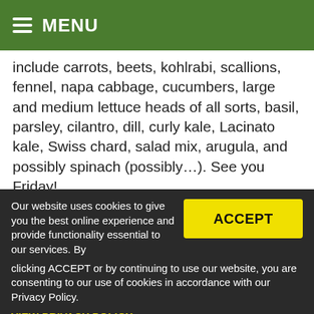MENU
include carrots, beets, kohlrabi, scallions, fennel, napa cabbage, cucumbers, large and medium lettuce heads of all sorts, basil, parsley, cilantro, dill, curly kale, Lacinato kale, Swiss chard, salad mix, arugula, and possibly spinach (possibly…). See you Friday!
Sweet Earth Garden and Vintage China
I am very sorry to say Sweet Earth Gardens will not be able to participate on Friday's
Our website uses cookies to give you the best online experience and provide functionality essential to our services. By clicking ACCEPT or by continuing to use our website, you are consenting to our use of cookies in accordance with our Privacy Policy.
VIEW PRIVACY POLICY